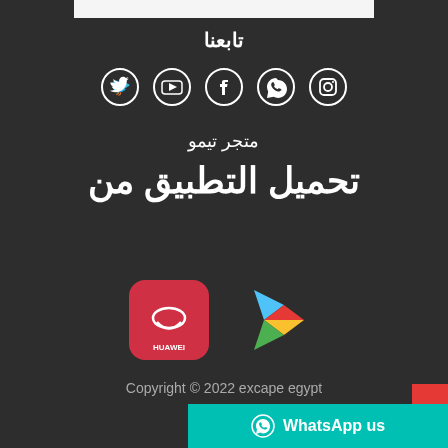تابعنا
[Figure (infographic): Social media icons: Twitter, YouTube, Facebook, WhatsApp, Instagram in white circles on dark background]
متجر تيمو
تحميل التطبيق من
[Figure (infographic): Huawei AppGallery logo and Google Play logo side by side]
Copyright © 2022 excape egypt
WhatsApp us